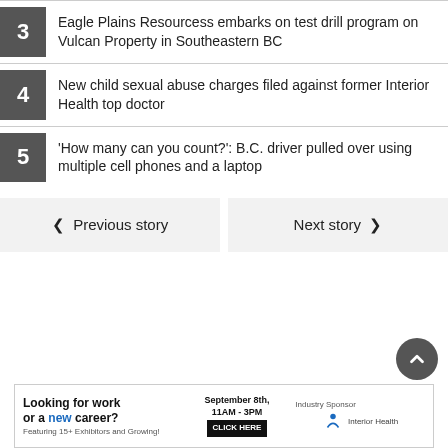3 Eagle Plains Resourcess embarks on test drill program on Vulcan Property in Southeastern BC
4 New child sexual abuse charges filed against former Interior Health top doctor
5 'How many can you count?': B.C. driver pulled over using multiple cell phones and a laptop
Previous story | Next story
[Figure (other): Advertisement banner: Looking for work or a new career? Featuring 15+ Exhibitors and Growing! September 8th, 11AM - 3PM CLICK HERE. Industry Sponsor: Interior Health]